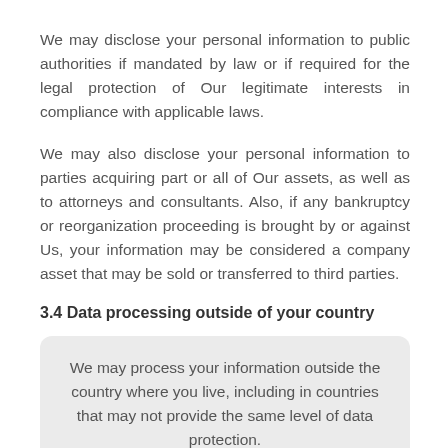We may disclose your personal information to public authorities if mandated by law or if required for the legal protection of Our legitimate interests in compliance with applicable laws.
We may also disclose your personal information to parties acquiring part or all of Our assets, as well as to attorneys and consultants. Also, if any bankruptcy or reorganization proceeding is brought by or against Us, your information may be considered a company asset that may be sold or transferred to third parties.
3.4 Data processing outside of your country
We may process your information outside the country where you live, including in countries that may not provide the same level of data protection.